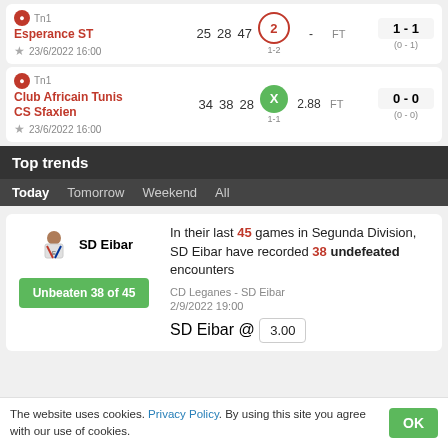| Team | Stat1 | Stat2 | Stat3 | Result | Odds | Status | Score |
| --- | --- | --- | --- | --- | --- | --- | --- |
| Esperance ST | 25 | 28 | 47 | 2 (1-2) | - | FT | 1-1 (0-1) |
| Club Africain Tunis / CS Sfaxien | 34 | 38 | 28 | X (1-1) | 2.88 | FT | 0-0 (0-0) |
Top trends
Today  Tomorrow  Weekend  All
In their last 45 games in Segunda Division, SD Eibar have recorded 38 undefeated encounters
CD Leganes - SD Eibar
2/9/2022 19:00
SD Eibar @ 3.00
The website uses cookies. Privacy Policy. By using this site you agree with our use of cookies.